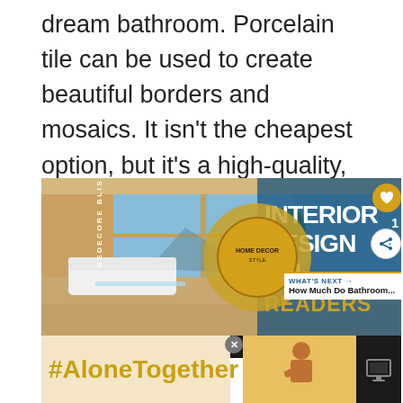dream bathroom. Porcelain tile can be used to create beautiful borders and mosaics. It isn't the cheapest option, but it's a high-quality, durable choice. Porcelain tile costs between $3 per square foot and $10 per square foot.
[Figure (photo): Advertisement image showing an interior design scene of a modern living room with large windows and mountain views, overlaid with 'INTERIOR DESIGN GUIDE READERS' text in white on dark blue background, a Home Decor logo circle, a heart button, share button, and a 'WHAT'S NEXT' panel showing 'How Much Do Bathroom...' A '#AloneTogether' ad banner appears at the bottom.]